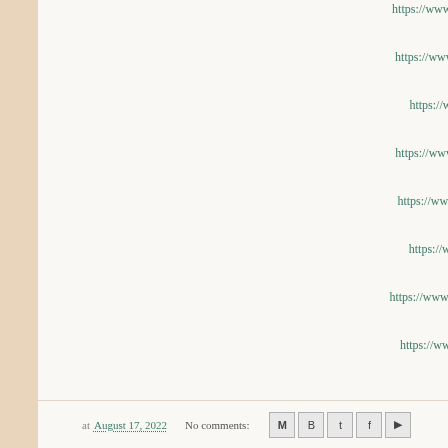https://www.facebook.com/ErinMcCarthyBoo
Erin Nicholas
https://www.facebook.com/ErinNicholasBoo
Julia Kent
https://www.facebook.com/jkentauthor
Kaylee Ryan
https://www.facebook.com/KayleeRyanAuth
Molly McLain
https://www.facebook.com/mollymclainboo
Piper Rayne
https://www.facebook.com/PiperRayne
Samantha Chase
https://www.facebook.com/SamanthaChaseFan
Zoe York
https://www.facebook.com/ZoeYorkWrites
at August 17, 2022   No comments: